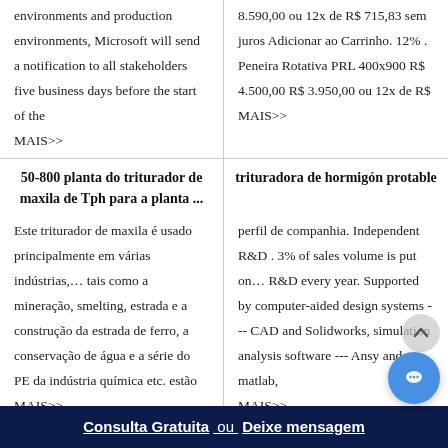environments and production environments, Microsoft will send a notification to all stakeholders five business days before the start of the MAIS>>
8.590,00 ou 12x de R$ 715,83 sem juros Adicionar ao Carrinho. 12% . Peneira Rotativa PRL 400x900 R$ 4.500,00 R$ 3.950,00 ou 12x de R$ MAIS>>
50-800 planta do triturador de maxila de Tph para a planta ...
trituradora de hormigón protable
Este triturador de maxila é usado principalmente em várias indústrias,… tais como a mineração, smelting, estrada e a construção da estrada de ferro, a conservação de água e a série do PE da indústria química etc. estão MAIS>>
perfil de companhia. Independent R&D . 3% of sales volume is put on… R&D every year. Supported by computer-aided design systems --- CAD and Solidworks, simulation analysis software --- Ansy and matlab, MAIS>>
Kenmore Elite Food Waste Disposer
DANGER
Consulta Gratuita  ou  Deixe mensagem